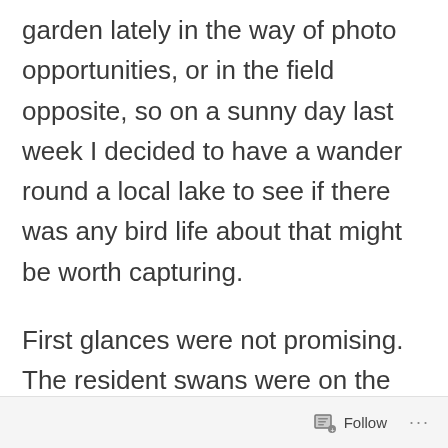garden lately in the way of photo opportunities, or in the field opposite, so on a sunny day last week I decided to have a wander round a local lake to see if there was any bird life about that might be worth capturing.
First glances were not promising. The resident swans were on the bank and made it clear, as we approached, that we should keep our distance, which we did
Follow ···